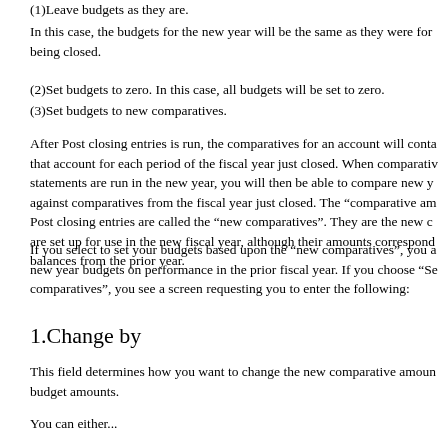(1)Leave budgets as they are.
In this case, the budgets for the new year will be the same as they were for being closed.
(2)Set budgets to zero. In this case, all budgets will be set to zero.
(3)Set budgets to new comparatives.
After Post closing entries is run, the comparatives for an account will conta that account for each period of the fiscal year just closed. When comparativ statements are run in the new year, you will then be able to compare new y against comparatives from the fiscal year just closed. The “comparative am Post closing entries are called the “new comparatives”. They are the new c are set up for use in the new fiscal year, although their amounts correspond balances from the prior year.
If you select to set your budgets based upon the “new comparatives”, you a new year budgets on performance in the prior fiscal year. If you choose “Se comparatives”, you see a screen requesting you to enter the following:
1.Change by
This field determines how you want to change the new comparative amoun budget amounts.
You can either...